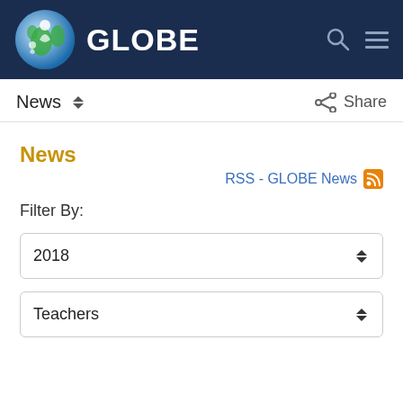GLOBE
News ⬦ Share
News
RSS - GLOBE News
Filter By:
2018
Teachers